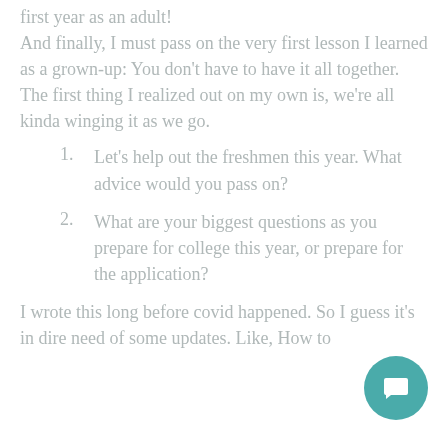first year as an adult! And finally, I must pass on the very first lesson I learned as a grown-up: You don't have to have it all together. The first thing I realized out on my own is, we're all kinda winging it as we go.
1. Let's help out the freshmen this year. What advice would you pass on?
2. What are your biggest questions as you prepare for college this year, or prepare for the application?
I wrote this long before covid happened. So I guess it's in dire need of some updates. Like, How to